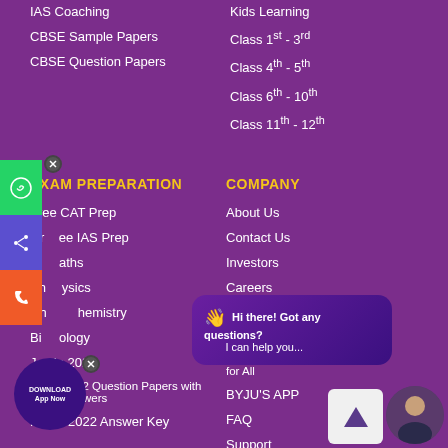IAS Coaching
CBSE Sample Papers
CBSE Question Papers
Kids Learning
Class 1st - 3rd
Class 4th - 5th
Class 6th - 10th
Class 11th - 12th
EXAM PREPARATION
COMPANY
Free CAT Prep
Free IAS Prep
Maths
Physics
Chemistry
Biology
Jain 2022
Jain 2022 Question Papers with Answers
NEET 2022 Answer Key
About Us
Contact Us
Investors
Careers
Social Initiative – Education for All
BYJU'S APP
FAQ
Support